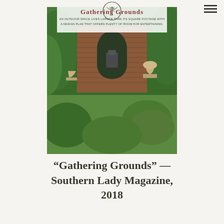[Figure (photo): Magazine cover or spread showing a lush green formal garden with boxwood hedges, brick wall with arched fountain niche, stone urns on pedestals, and the text 'Gathering Grounds' with subtitle 'An outdoor space lives larger than its square footage with a design plan that offers plenty of room for entertaining.' A circular tree logo (T|R) appears at top center.]
“Gathering Grounds” — Southern Lady Magazine, 2018